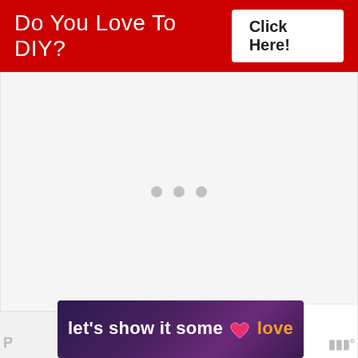Do You Love To DIY? Click Here! ×
[Figure (other): Loading spinner with three grey dots on light grey background]
[Figure (other): Floating red heart button and white share button on right side]
[Figure (other): What's Next widget showing floral thumbnail and text: Beat The Winter...]
[Figure (other): Ad banner with text: let's show it some love, with pink heart icon on dark purple gradient background]